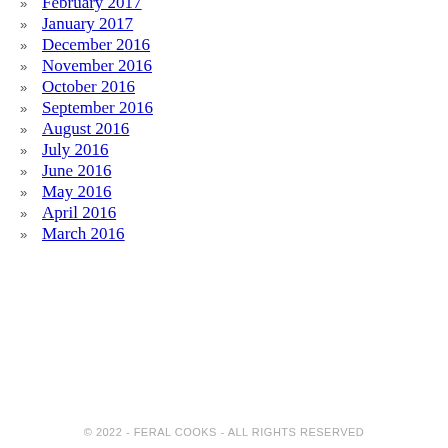February 2017
January 2017
December 2016
November 2016
October 2016
September 2016
August 2016
July 2016
June 2016
May 2016
April 2016
March 2016
© 2022 - FERAL COOKS - ALL RIGHTS RESERVED